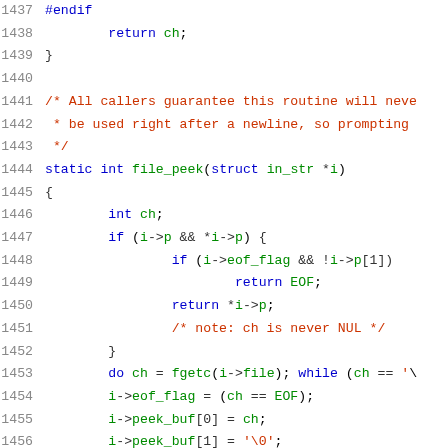Source code listing, lines 1437-1457, C language file_peek function implementation
1437  #endif
1438          return ch;
1439  }
1440
1441  /* All callers guarantee this routine will neve
1442   * be used right after a newline, so prompting
1443   */
1444  static int file_peek(struct in_str *i)
1445  {
1446          int ch;
1447          if (i->p && *i->p) {
1448                  if (i->eof_flag && !i->p[1])
1449                          return EOF;
1450                  return *i->p;
1451                  /* note: ch is never NUL */
1452          }
1453          do ch = fgetc(i->file); while (ch == '\
1454          i->eof_flag = (ch == EOF);
1455          i->peek_buf[0] = ch;
1456          i->peek_buf[1] = '\0';
1457          i->p = i->peek_buf;